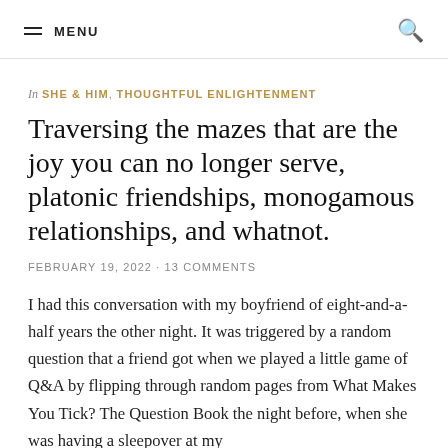MENU
In SHE & HIM, THOUGHTFUL ENLIGHTENMENT
Traversing the mazes that are the joy you can no longer serve, platonic friendships, monogamous relationships, and whatnot.
FEBRUARY 19, 2022 · 13 COMMENTS
I had this conversation with my boyfriend of eight-and-a-half years the other night. It was triggered by a random question that a friend got when we played a little game of Q&A by flipping through random pages from What Makes You Tick? The Question Book the night before, when she was having a sleepover at my